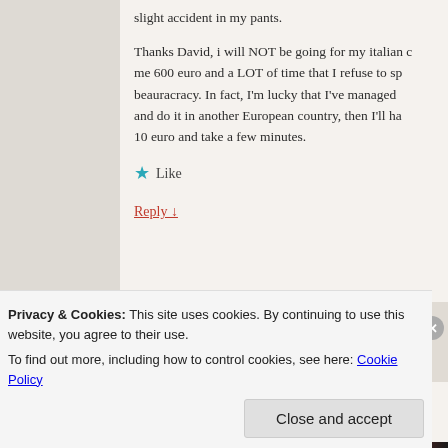slight accident in my pants.
Thanks David, i will NOT be going for my italian c… me 600 euro and a LOT of time that I refuse to sp… beauracracy. In fact, I'm lucky that I've managed … and do it in another European country, then I'll ha… 10 euro and take a few minutes.
★ Like
Reply ↓
David James on Sente…
Privacy & Cookies: This site uses cookies. By continuing to use this website, you agree to their use.
To find out more, including how to control cookies, see here: Cookie Policy
Close and accept